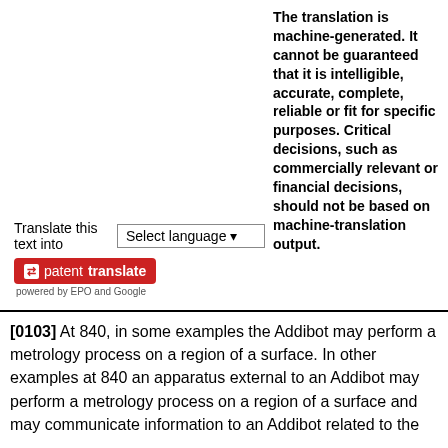The translation is machine-generated. It cannot be guaranteed that it is intelligible, accurate, complete, reliable or fit for specific purposes. Critical decisions, such as commercially relevant or financial decisions, should not be based on machine-translation output.
Translate this text into Select language
[Figure (logo): PatentTranslate logo badge with red background showing arrows icon and text 'patenttranslate', with 'powered by EPO and Google' below]
[0103] At 840, in some examples the Addibot may perform a metrology process on a region of a surface. In other examples at 840 an apparatus external to an Addibot may perform a metrology process on a region of a surface and may communicate information to an Addibot related to the